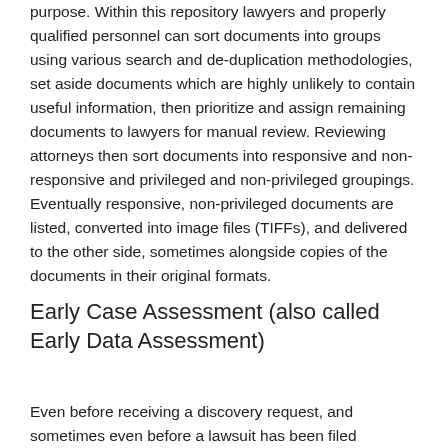purpose. Within this repository lawyers and properly qualified personnel can sort documents into groups using various search and de-duplication methodologies, set aside documents which are highly unlikely to contain useful information, then prioritize and assign remaining documents to lawyers for manual review. Reviewing attorneys then sort documents into responsive and non-responsive and privileged and non-privileged groupings. Eventually responsive, non-privileged documents are listed, converted into image files (TIFFs), and delivered to the other side, sometimes alongside copies of the documents in their original formats.
Early Case Assessment (also called Early Data Assessment)
Even before receiving a discovery request, and sometimes even before a lawsuit has been filed